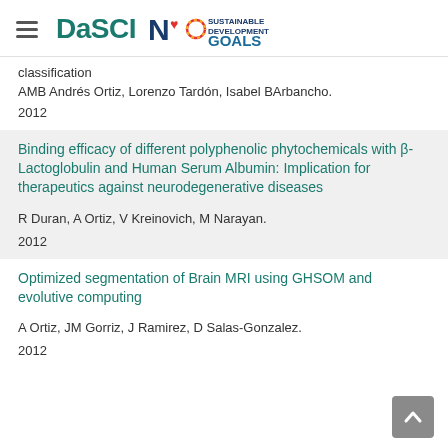DaSCI | Sustainable Development Goals
classification
AMB Andrés Ortiz, Lorenzo Tardón, Isabel BArbancho.
2012
Binding efficacy of different polyphenolic phytochemicals with β-Lactoglobulin and Human Serum Albumin: Implication for therapeutics against neurodegenerative diseases
R Duran, A Ortiz, V Kreinovich, M Narayan.
2012
Optimized segmentation of Brain MRI using GHSOM and evolutive computing
A Ortiz, JM Gorriz, J Ramirez, D Salas-Gonzalez.
2012